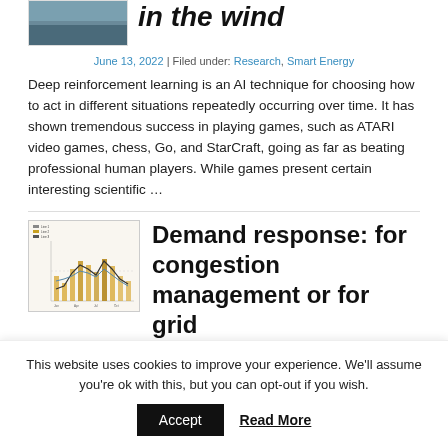[Figure (photo): Partial thumbnail image showing blue-gray sky/wind background]
in the wind
June 13, 2022 | Filed under: Research, Smart Energy
Deep reinforcement learning is an AI technique for choosing how to act in different situations repeatedly occurring over time. It has shown tremendous success in playing games, such as ATARI video games, chess, Go, and StarCraft, going as far as beating professional human players. While games present certain interesting scientific …
[Figure (line-chart): Small thumbnail chart with yellow/gold and dark line data showing demand/energy data over time]
Demand response: for congestion management or for grid
This website uses cookies to improve your experience. We'll assume you're ok with this, but you can opt-out if you wish.
Accept   Read More